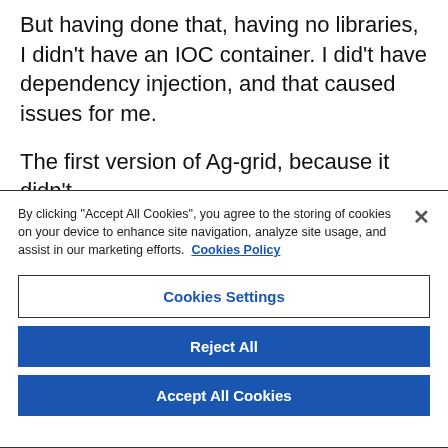But having done that, having no libraries, I didn't have an IOC container. I did't have dependency injection, and that caused issues for me.
The first version of Ag-grid, because it didn't
By clicking "Accept All Cookies", you agree to the storing of cookies on your device to enhance site navigation, analyze site usage, and assist in our marketing efforts. Cookies Policy
Cookies Settings
Reject All
Accept All Cookies